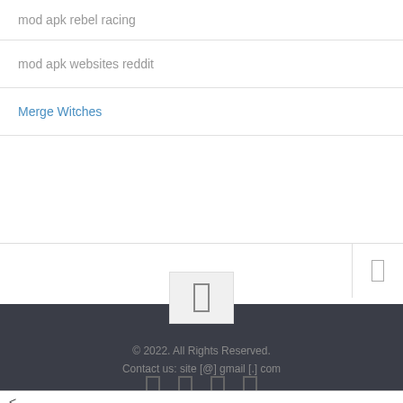mod apk rebel racing
mod apk websites reddit
Merge Witches
[Figure (other): Navigation bar with scroll-to-top button and dark footer area]
© 2022. All Rights Reserved.
Contact us: site [@] gmail [.] com
<